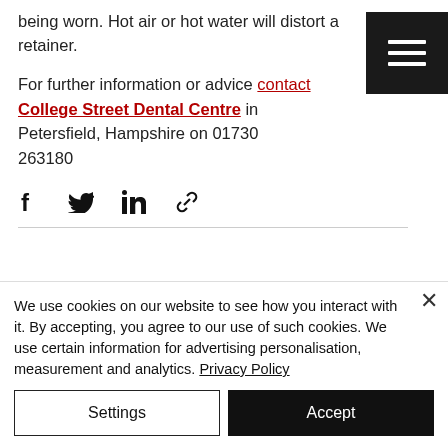being worn. Hot air or hot water will distort a retainer.
For further information or advice contact College Street Dental Centre in Petersfield, Hampshire on 01730 263180
[Figure (other): Hamburger menu button (black square with three white horizontal lines)]
[Figure (other): Social share icons row: Facebook, Twitter, LinkedIn, link/chain icon]
We use cookies on our website to see how you interact with it. By accepting, you agree to our use of such cookies. We use certain information for advertising personalisation, measurement and analytics. Privacy Policy
Settings | Accept